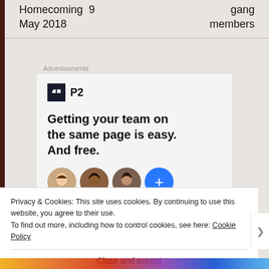| Homecoming  9
May 2018 | gang
members |
Advertisements
[Figure (illustration): P2 advertisement with logo, headline 'Getting your team on the same page is easy. And free.' and four avatar circles including a blue plus button]
Privacy & Cookies: This site uses cookies. By continuing to use this website, you agree to their use.
To find out more, including how to control cookies, see here: Cookie Policy
Close and accept